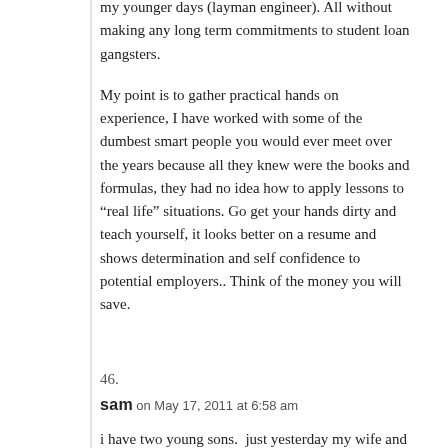my younger days (layman engineer). All without making any long term commitments to student loan gangsters.
My point is to gather practical hands on experience, I have worked with some of the dumbest smart people you would ever meet over the years because all they knew were the books and formulas, they had no idea how to apply lessons to “real life” situations. Go get your hands dirty and teach yourself, it looks better on a resume and shows determination and self confidence to potential employers.. Think of the money you will save.
46.
sam on May 17, 2011 at 6:58 am
i have two young sons.  just yesterday my wife and i were talking about this subject.  we decided it would be worth it to make our kids go to learn a trade straight out of high school.  whatever they do later is up to